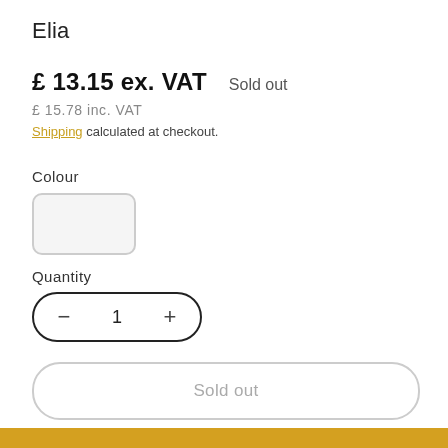Elia
£ 13.15 ex. VAT   Sold out
£ 15.78 inc. VAT
Shipping calculated at checkout.
Colour
[Figure (other): Colour swatch selector — a rounded rectangle with light grey background representing a colour option]
Quantity
[Figure (other): Quantity stepper control with minus button, value of 1, and plus button inside a rounded rectangle border]
Sold out
ADD TO YOUR BRANDED CROCKERY QUOTE